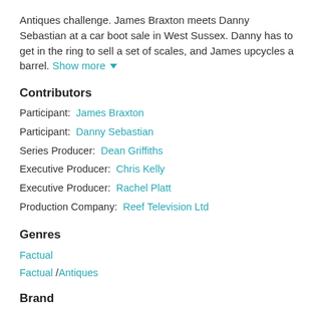Antiques challenge. James Braxton meets Danny Sebastian at a car boot sale in West Sussex. Danny has to get in the ring to sell a set of scales, and James upcycles a barrel. Show more ▼
Contributors
Participant:  James Braxton
Participant:  Danny Sebastian
Series Producer:  Dean Griffiths
Executive Producer:  Chris Kelly
Executive Producer:  Rachel Platt
Production Company:  Reef Television Ltd
Genres
Factual
Factual /Antiques
Brand